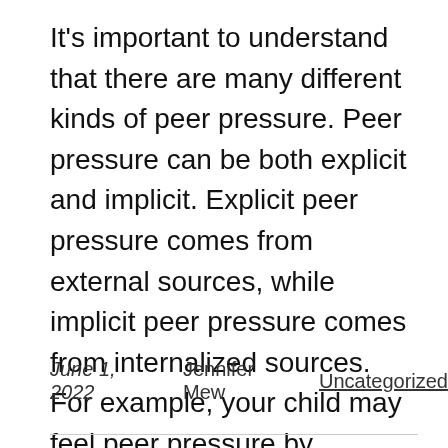It's important to understand that there are many different kinds of peer pressure. Peer pressure can be both explicit and implicit. Explicit peer pressure comes from external sources, while implicit peer pressure comes from internalized sources. For example, your child may feel peer pressure by comparing himself to other kids. Likewise, a child who wears different clothing or music than his friends may feel peer pressure.
June 1, 2022    Jennifer Mew    Uncategorized